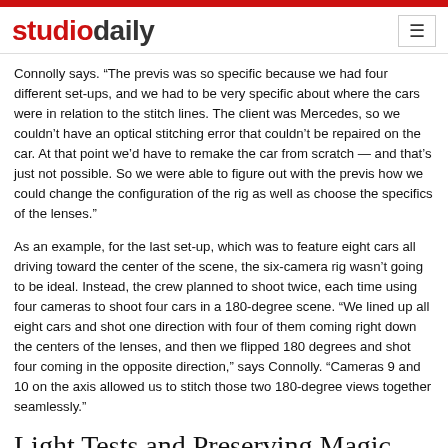studiodaily
Connolly says. “The previs was so specific because we had four different set-ups, and we had to be very specific about where the cars were in relation to the stitch lines. The client was Mercedes, so we couldn’t have an optical stitching error that couldn’t be repaired on the car. At that point we’d have to remake the car from scratch — and that’s just not possible. So we were able to figure out with the previs how we could change the configuration of the rig as well as choose the specifics of the lenses.”
As an example, for the last set-up, which was to feature eight cars all driving toward the center of the scene, the six-camera rig wasn’t going to be ideal. Instead, the crew planned to shoot twice, each time using four cameras to shoot four cars in a 180-degree scene. “We lined up all eight cars and shot one direction with four of them coming right down the centers of the lenses, and then we flipped 180 degrees and shot four coming in the opposite direction,” says Connolly. “Cameras 9 and 10 on the axis allowed us to stitch those two 180-degree views together seamlessly.”
Light Tests and Preserving Magic Hour
Prep became less virtual and more physical as the shoot drew closer. Pesses remembers spending time with Sharabani doing light studies with still and VR cameras. “The cars would go around and around, and we’d only use a certain slice of that footage,” Pesses says. “So the key was figuring out that the black